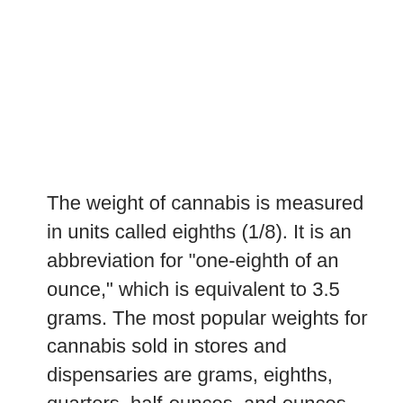The weight of cannabis is measured in units called eighths (1/8). It is an abbreviation for "one-eighth of an ounce," which is equivalent to 3.5 grams. The most popular weights for cannabis sold in stores and dispensaries are grams, eighths, quarters, half-ounces, and ounces. However, cannabis may be purchased in a wide range of other weights as well.
How do I talk to a dealer?